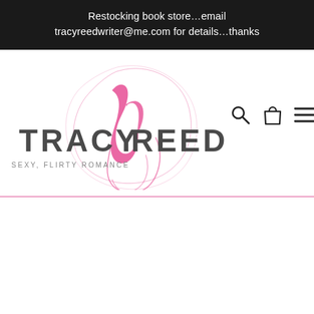Restocking book store…email tracyreedwriter@me.com for details…thanks
[Figure (logo): Tracy Reed author logo — stylized script 'n' monogram inside a pink oval calligraphic swirl, with bold sans-serif text TRACY REED and subtitle SWEET, SEXY, FLIRTY ROMANCE]
[Figure (other): Navigation icons: search magnifying glass, shopping bag, hamburger menu]